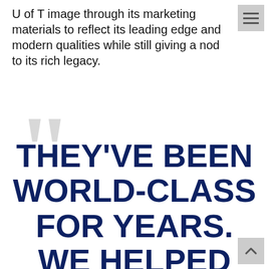U of T image through its marketing materials to reflect its leading edge and modern qualities while still giving a nod to its rich legacy.
THEY'VE BEEN WORLD-CLASS FOR YEARS. WE HELPED BRING THE WORLD THEIR CLASSES.